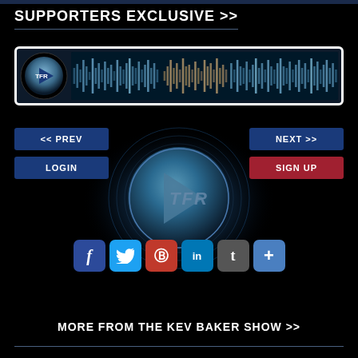SUPPORTERS EXCLUSIVE >>
[Figure (screenshot): TFR audio player widget with waveform display, TFR logo on left, blue border]
[Figure (illustration): TFR large circular play button with blue glow radial design, TFR text and play triangle in center]
[Figure (other): << PREV navigation button (dark blue), NEXT >> navigation button (dark blue), LOGIN button (dark blue), SIGN UP button (red)]
[Figure (other): Social media sharing icons: Facebook, Twitter, Pinterest, LinkedIn, Tumblr, Plus/More]
MORE FROM THE KEV BAKER SHOW >>